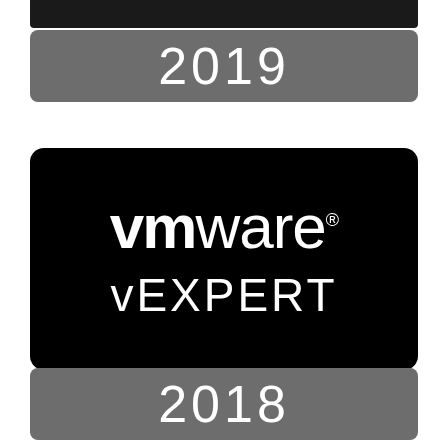[Figure (logo): VMware vEXPERT badge with year 2019 banner above and 2018 banner below. The badge features the VMware logo in white on a black rounded rectangle background, with 'vEXPERT' text below the logo. Gray rounded rectangle banners showing '2019' and '2018' are positioned above and below the badge respectively. A black bar appears at the very top.]